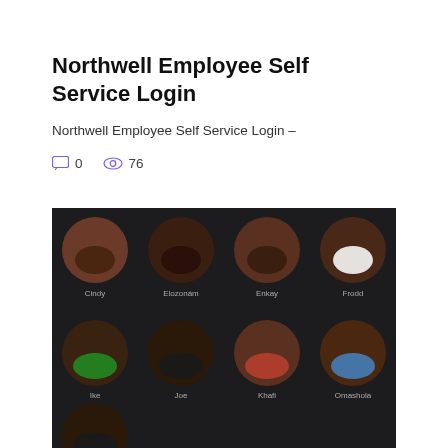Northwell Employee Self Service Login
Northwell Employee Self Service Login –
0  76
[Figure (photo): Dark background grid of portrait photos showing 8 people labeled: Cindy, Elozonam, Enkay, Frodd (top row), Ike, Joe, Khafi, Omashola (middle row), and one partial portrait at the bottom left (Mercy).]